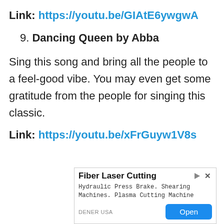Link: https://youtu.be/GIAtE6ywgwA
9. Dancing Queen by Abba
Sing this song and bring all the people to a feel-good vibe. You may even get some gratitude from the people for singing this classic.
Link: https://youtu.be/xFrGuyw1V8s
[Figure (other): Advertisement box for Fiber Laser Cutting. Shows title 'Fiber Laser Cutting', subtitle 'Hydraulic Press Brake. Shearing Machines. Plasma Cutting Machine', source 'DENER USA', and an 'Open' button. Has play and close icons in top right.]